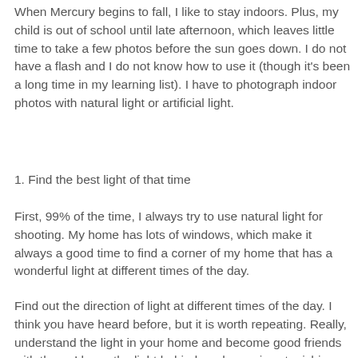When Mercury begins to fall, I like to stay indoors. Plus, my child is out of school until late afternoon, which leaves little time to take a few photos before the sun goes down. I do not have a flash and I do not know how to use it (though it's been a long time in my learning list). I have to photograph indoor photos with natural light or artificial light.
1. Find the best light of that time
First, 99% of the time, I always try to use natural light for shooting. My home has lots of windows, which make it always a good time to find a corner of my home that has a wonderful light at different times of the day.
Find out the direction of light at different times of the day. I think you have heard before, but it is worth repeating. Really, understand the light in your home and become good friends with them. I know the light behind our house is astonishing later in the afternoon, especially in the afternoon from around 4 to 6.